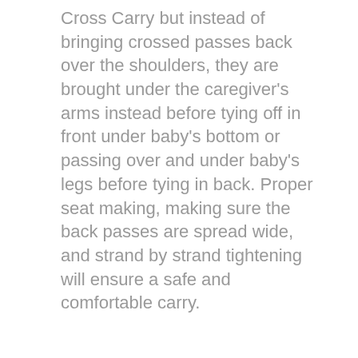Cross Carry but instead of bringing crossed passes back over the shoulders, they are brought under the caregiver's arms instead before tying off in front under baby's bottom or passing over and under baby's legs before tying in back. Proper seat making, making sure the back passes are spread wide, and strand by strand tightening will ensure a safe and comfortable carry.